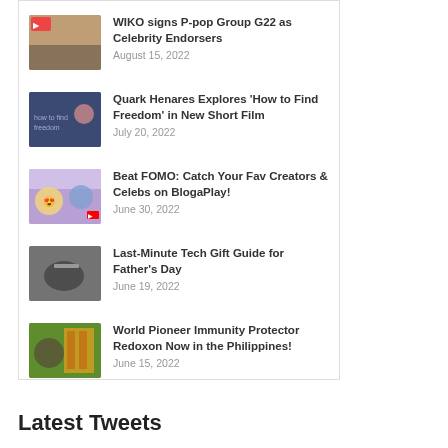[Figure (photo): Thumbnail image for WIKO signs P-pop Group G22 as Celebrity Endorsers article]
WIKO signs P-pop Group G22 as Celebrity Endorsers
August 15, 2022
[Figure (photo): Thumbnail image for Quark Henares 'How to Find Freedom' short film article]
Quark Henares Explores 'How to Find Freedom' in New Short Film
July 20, 2022
[Figure (photo): Thumbnail image for Beat FOMO BlogaPlay article]
Beat FOMO: Catch Your Fav Creators & Celebs on BlogaPlay!
June 30, 2022
[Figure (photo): Thumbnail image for Last-Minute Tech Gift Guide for Father's Day article]
Last-Minute Tech Gift Guide for Father's Day
June 19, 2022
[Figure (photo): Thumbnail image for World Pioneer Immunity Protector Redoxon article]
World Pioneer Immunity Protector Redoxon Now in the Philippines!
June 15, 2022
Latest Tweets